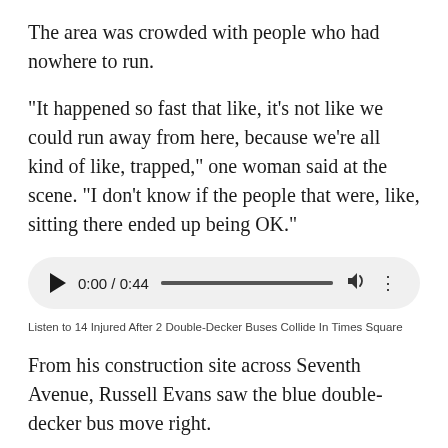The area was crowded with people who had nowhere to run.
"It happened so fast that like, it's not like we could run away from here, because we're all kind of like, trapped," one woman said at the scene. "I don't know if the people that were, like, sitting there ended up being OK."
[Figure (other): Audio player widget showing 0:00 / 0:44 with play button, progress bar, volume icon, and more options icon]
Listen to 14 Injured After 2 Double-Decker Buses Collide In Times Square
From his construction site across Seventh Avenue, Russell Evans saw the blue double-decker bus move right.